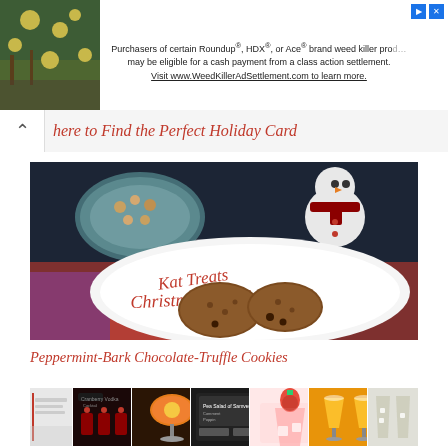[Figure (screenshot): Ad banner: photo of yellow wildflowers on left, text ad for Roundup/HDX/Ace weed killer class action settlement on right]
Purchasers of certain Roundup®, HDX®, or Ace® brand weed killer products may be eligible for a cash payment from a class action settlement. Visit www.WeedKillerAdSettlement.com to learn more.
here to Find the Perfect Holiday Card
[Figure (photo): Photo of a white plate labeled 'Kat Treats Christmas Cookies' in red script, with brown chocolate cookies on it, a snowman figure in background, and a glass bowl with nuts]
Peppermint-Bark Chocolate-Truffle Cookies
[Figure (photo): Collage of drink photos: cranberry cocktails, orange cocktail in coupe glass, strawberry drinks, margaritas, and citrus drinks]